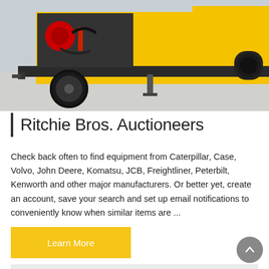[Figure (photo): Yellow construction equipment (concrete pump/mixer) on a trailer with black frame and large tires, shown in an outdoor setting with grey floor. Machine has an open engine compartment with red components visible.]
| Ritchie Bros. Auctioneers
Check back often to find equipment from Caterpillar, Case, Volvo, John Deere, Komatsu, JCB, Freightliner, Peterbilt, Kenworth and other major manufacturers. Or better yet, create an account, save your search and set up email notifications to conveniently know when similar items are ...
[Figure (photo): Partially visible image at the bottom of the page showing what appears to be industrial equipment or coiled material with blue/green coloring on a light background.]